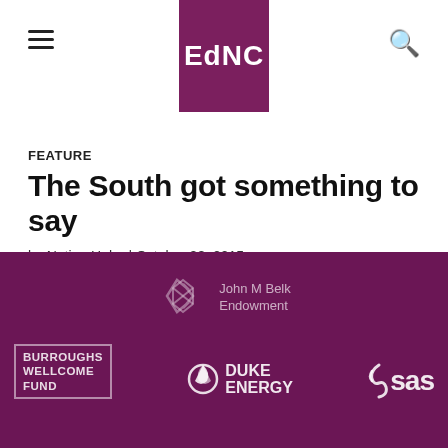EdNC
FEATURE
The South got something to say
by Nation Hahn | October 28, 2015
[Figure (logo): Footer with sponsor logos: John M Belk Endowment, Burroughs Wellcome Fund, Duke Energy, SAS on dark purple background]